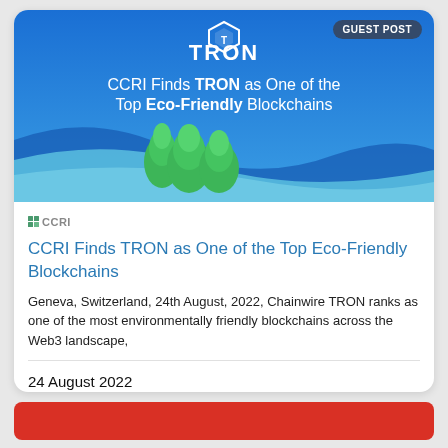[Figure (illustration): Hero banner for TRON blockchain article showing blue gradient background with TRON logo at top, green trees illustration, and white text reading 'CCRI Finds TRON as One of the Top Eco-Friendly Blockchains'. A 'GUEST POST' badge appears in top-right corner.]
[Figure (logo): CCRI logo — small green/teal grid icon with CCRI text]
CCRI Finds TRON as One of the Top Eco-Friendly Blockchains
Geneva, Switzerland, 24th August, 2022, Chainwire TRON ranks as one of the most environmentally friendly blockchains across the Web3 landscape,
24 August 2022